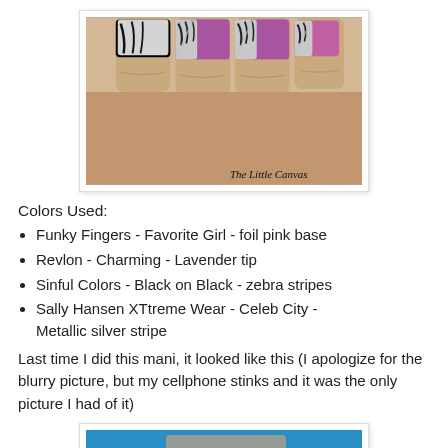[Figure (photo): Close-up photo of a hand with nails painted in pink foil base with zebra stripe nail art and lavender tips. Watermark reads 'The Little Canvas'.]
Colors Used:
Funky Fingers - Favorite Girl - foil pink base
Revlon - Charming - Lavender tip
Sinful Colors - Black on Black - zebra stripes
Sally Hansen XTtreme Wear - Celeb City - Metallic silver stripe
Last time I did this mani, it looked like this (I apologize for the blurry picture, but my cellphone stinks and it was the only picture I had of it)
[Figure (photo): Partial photo showing a hand with nail art, cut off at bottom of page.]